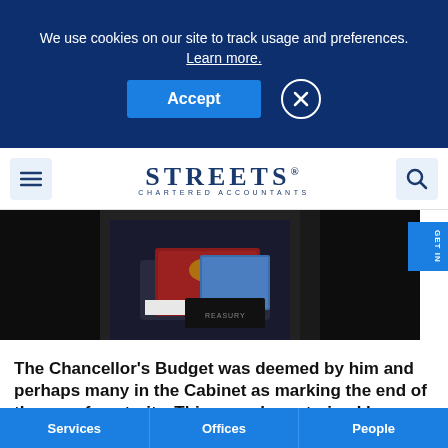We use cookies on our site to track usage and preferences. Learn more.
Accept
[Figure (photo): Person in a dark suit holding a red dispatch box and blue folder, associated with the UK Chancellor's Budget]
GET IN
The Chancellor’s Budget was deemed by him and perhaps many in the Cabinet as marking the end of the era of austerity. This was characterised by
Services  Offices  People